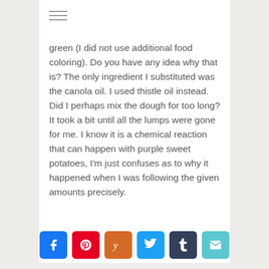green (I did not use additional food coloring). Do you have any idea why that is? The only ingredient I substituted was the canola oil. I used thistle oil instead. Did I perhaps mix the dough for too long? It took a bit until all the lumps were gone for me. I know it is a chemical reaction that can happen with purple sweet potatoes, I'm just confuses as to why it happened when I was following the given amounts precisely.